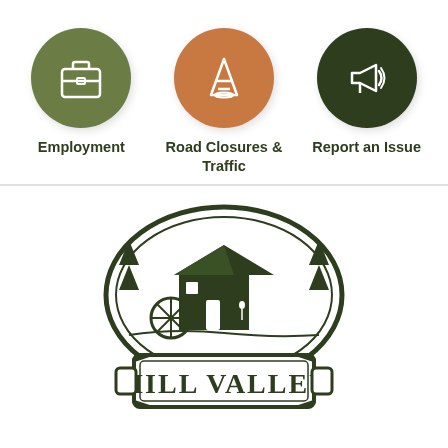[Figure (illustration): Three circular icon buttons: Employment (olive green circle with briefcase icon), Road Closures & Traffic (orange circle with traffic cone icon), Report an Issue (dark green circle with megaphone icon)]
Employment
Road Closures & Traffic
Report an Issue
[Figure (logo): Mill Valley city logo: oval illustration of a historic mill building with water wheel surrounded by trees, below which is a decorative plaque-style banner reading MILL VALLEY in bold serif font, all in dark green on white]